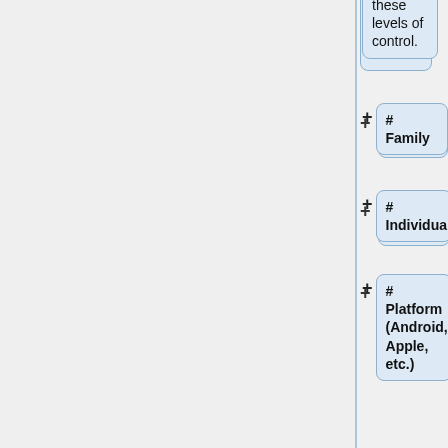these levels of control.
# Family
# Individual
# Platform (Android, Apple, etc.)
# Device
# Wallet
# Identifier Friendly Name.
Also sync can be performed at the high levels so that an individual can sync all devices and wallets, or